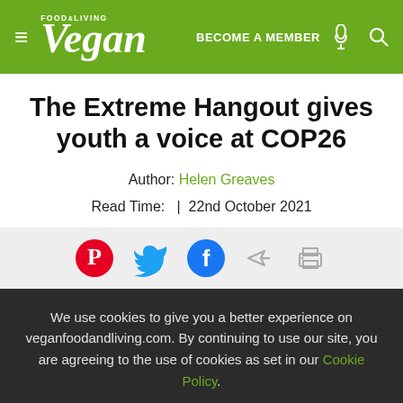Vegan Food & Living — BECOME A MEMBER
The Extreme Hangout gives youth a voice at COP26
Author: Helen Greaves
Read Time: | 22nd October 2021
[Figure (infographic): Social share icons: Pinterest (red circle with P), Twitter (blue bird), Facebook (blue circle with f), share arrow, printer icon]
We use cookies to give you a better experience on veganfoodandliving.com. By continuing to use our site, you are agreeing to the use of cookies as set in our Cookie Policy.
OK, got it